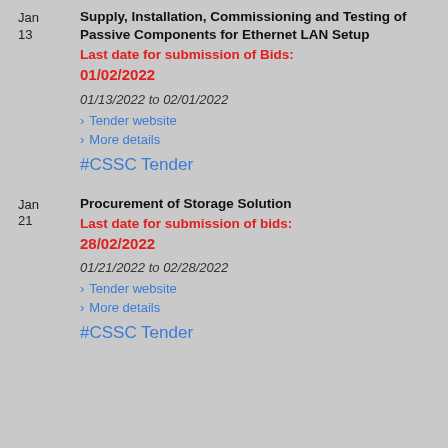Jan 13
Supply, Installation, Commissioning and Testing of Passive Components for Ethernet LAN Setup
Last date for submission of Bids: 01/02/2022
01/13/2022 to 02/01/2022
> Tender website
> More details
#CSSC Tender
Jan 21
Procurement of Storage Solution
Last date for submission of bids: 28/02/2022
01/21/2022 to 02/28/2022
> Tender website
> More details
#CSSC Tender